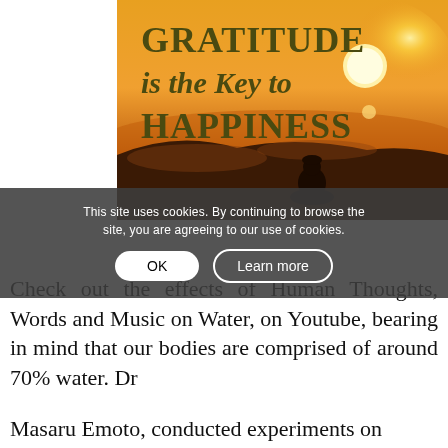[Figure (illustration): Sunset/sunrise image with a silhouette of a person sitting on a hilltop, golden sky with sun visible. Text overlaid reads 'GRATITUDE is the Key to HAPPINESS' in dark olive/brown bold font.]
This site uses cookies. By continuing to browse the site, you are agreeing to our use of cookies.
Check out the effects of Human Thoughts, Words and Music on Water, on Youtube, bearing in mind that our bodies are comprised of around 70% water. Dr Masaru Emoto, conducted experiments on